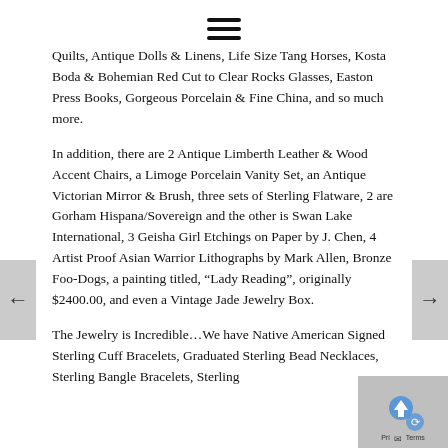[Figure (other): Hamburger menu icon (three horizontal lines)]
Quilts, Antique Dolls & Linens, Life Size Tang Horses, Kosta Boda & Bohemian Red Cut to Clear Rocks Glasses, Easton Press Books, Gorgeous Porcelain & Fine China, and so much more.
In addition, there are 2 Antique Limberth Leather & Wood Accent Chairs, a Limoge Porcelain Vanity Set, an Antique Victorian Mirror & Brush, three sets of Sterling Flatware, 2 are Gorham Hispana/Sovereign and the other is Swan Lake International, 3 Geisha Girl Etchings on Paper by J. Chen, 4 Artist Proof Asian Warrior Lithographs by Mark Allen, Bronze Foo-Dogs, a painting titled, “Lady Reading”, originally $2400.00, and even a Vintage Jade Jewelry Box.
The Jewelry is Incredible…We have Native American Signed Sterling Cuff Bracelets, Graduated Sterling Bead Necklaces, Sterling Bangle Bracelets, Sterling